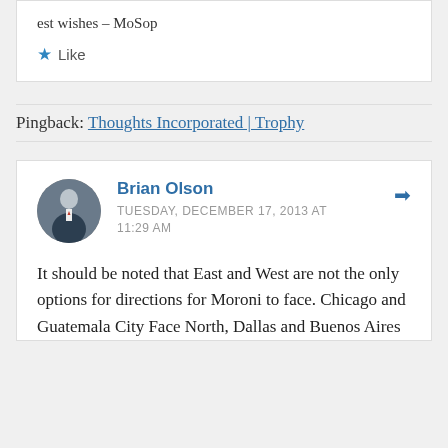est wishes – MoSop
★ Like
Pingback: Thoughts Incorporated | Trophy
Brian Olson
TUESDAY, DECEMBER 17, 2013 AT 11:29 AM
It should be noted that East and West are not the only options for directions for Moroni to face. Chicago and Guatemala City Face North, Dallas and Buenos Aires